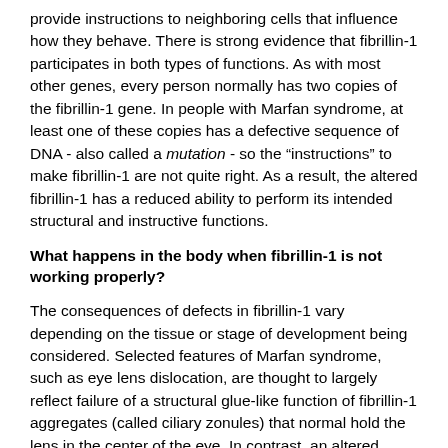provide instructions to neighboring cells that influence how they behave. There is strong evidence that fibrillin-1 participates in both types of functions. As with most other genes, every person normally has two copies of the fibrillin-1 gene. In people with Marfan syndrome, at least one of these copies has a defective sequence of DNA - also called a mutation - so the "instructions" to make fibrillin-1 are not quite right. As a result, the altered fibrillin-1 has a reduced ability to perform its intended structural and instructive functions.
What happens in the body when fibrillin-1 is not working properly?
The consequences of defects in fibrillin-1 vary depending on the tissue or stage of development being considered. Selected features of Marfan syndrome, such as eye lens dislocation, are thought to largely reflect failure of a structural glue-like function of fibrillin-1 aggregates (called ciliary zonules) that normal hold the lens in the center of the eye. In contrast, an altered ability of fibrillin-1 to regulate cell behavior is thought to contribute to many of the cardiovascular, lung, and skeletal features of Marfan syndrome. More likely than not, there is a complex combination of multiple factors that dictates when and where features of Marfan